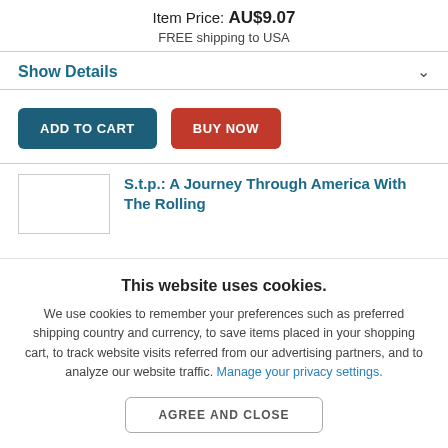Item Price: AU$9.07
FREE shipping to USA
Show Details
ADD TO CART
BUY NOW
S.t.p.: A Journey Through America With The Rolling
This website uses cookies.
We use cookies to remember your preferences such as preferred shipping country and currency, to save items placed in your shopping cart, to track website visits referred from our advertising partners, and to analyze our website traffic. Manage your privacy settings.
AGREE AND CLOSE